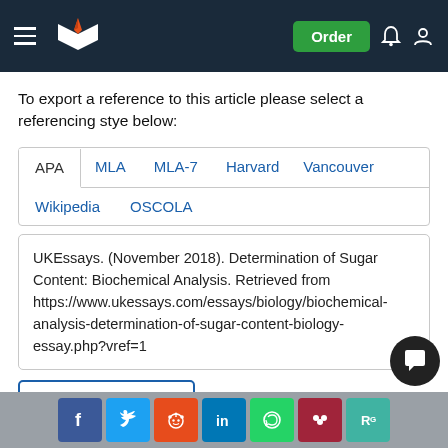[Figure (screenshot): Website header with dark navy background, hamburger menu, book/pen logo, Order button in green, bell and user icons]
To export a reference to this article please select a referencing stye below:
[Figure (screenshot): Tab navigation with options: APA (active), MLA, MLA-7, Harvard, Vancouver, Wikipedia, OSCOLA]
UKEssays. (November 2018). Determination of Sugar Content: Biochemical Analysis. Retrieved from https://www.ukessays.com/essays/biology/biochemical-analysis-determination-of-sugar-content-biology-essay.php?vref=1
Copy to Clipboard
[Figure (screenshot): Social sharing icons: Facebook, Twitter, Reddit, LinkedIn, WhatsApp, Mendeley, ResearchGate]